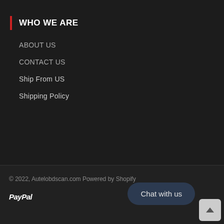WHO WE ARE
ABOUT US
CONTACT US
Ship From US
Shipping Policy
© 2022, Autelobdscan.com Powered by Shopify
PayPal
Chat with us